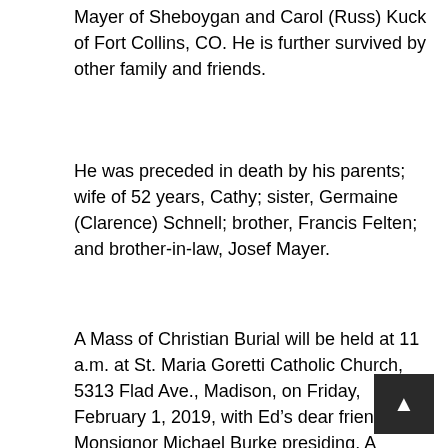Mayer of Sheboygan and Carol (Russ) Kuck of Fort Collins, CO. He is further survived by other family and friends.
He was preceded in death by his parents; wife of 52 years, Cathy; sister, Germaine (Clarence) Schnell; brother, Francis Felten; and brother-in-law, Josef Mayer.
A Mass of Christian Burial will be held at 11 a.m. at St. Maria Goretti Catholic Church, 5313 Flad Ave., Madison, on Friday, February 1, 2019, with Ed's dear friend Monsignor Michael Burke presiding. A visitation will be held from 4 p.m. until 7 p.m. at Ryan Funeral Home, 5701 Odana Road, Madison, on Thursday, January 31, and again from 10 a.m. until time of M at the church on Friday. Entombment will be at Resurrection Catholic Cemetery.